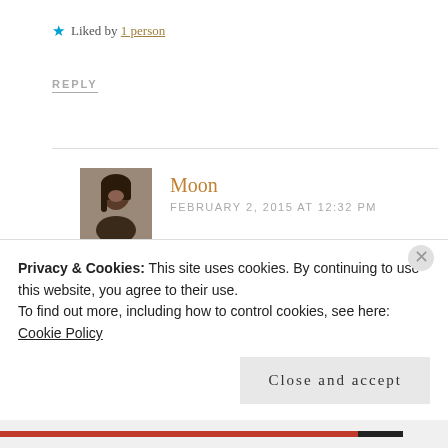★ Liked by 1 person
REPLY
[Figure (photo): Profile photo of Moon, a person with dark hair]
Moon
FEBRUARY 2, 2015 AT 12:32 PM
:D... I understand. Thank you Renuka!
★ Like
Privacy & Cookies: This site uses cookies. By continuing to use this website, you agree to their use.
To find out more, including how to control cookies, see here:
Cookie Policy
Close and accept